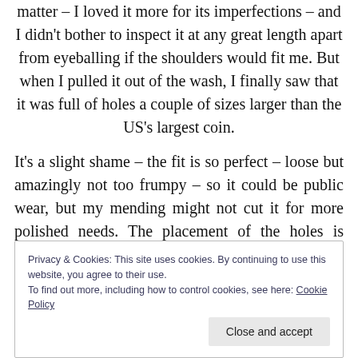matter – I loved it more for its imperfections – and I didn't bother to inspect it at any great length apart from eyeballing if the shoulders would fit me. But when I pulled it out of the wash, I finally saw that it was full of holes a couple of sizes larger than the US's largest coin.
It's a slight shame – the fit is so perfect – loose but amazingly not too frumpy – so it could be public wear, but my mending might not cut it for more polished needs. The placement of the holes is random, yet spaced out enough so some interesting embroidery or patches of some sort could look really good, but for now unraveling is mitigated
Privacy & Cookies: This site uses cookies. By continuing to use this website, you agree to their use.
To find out more, including how to control cookies, see here: Cookie Policy